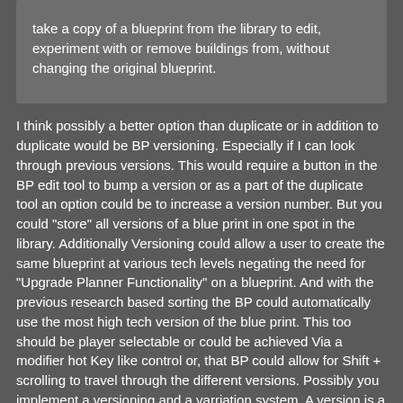take a copy of a blueprint from the library to edit, experiment with or remove buildings from, without changing the original blueprint.
I think possibly a better option than duplicate or in addition to duplicate would be BP versioning. Especially if I can look through previous versions. This would require a button in the BP edit tool to bump a version or as a part of the duplicate tool an option could be to increase a version number. But you could "store" all versions of a blue print in one spot in the library. Additionally Versioning could allow a user to create the same blueprint at various tech levels negating the need for "Upgrade Planner Functionality" on a blueprint. And with the previous research based sorting the BP could automatically use the most high tech version of the blue print. This too should be player selectable or could be achieved Via a modifier hot Key like control or, that BP could allow for Shift + scrolling to travel through the different versions. Possibly you implement a versioning and a varriation system. A version is a change to a blueprint and the user would mark a BP as a new version and a variation on the blue print which is an identical BP layout but uses a